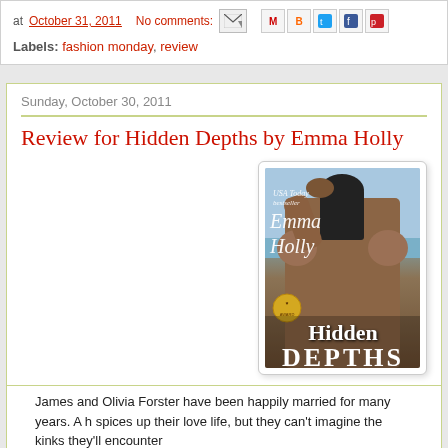at October 31, 2011   No comments:
Labels: fashion monday, review
Sunday, October 30, 2011
Review for Hidden Depths by Emma Holly
[Figure (illustration): Book cover for Hidden Depths by Emma Holly. Shows a muscular person from behind with dark hair, against a light blue sky/ocean background. The cover text reads: USA Today bestseller, Emma Holly, Hidden Depths.]
James and Olivia Forster have been happily married for many years. A h spices up their love life, but they can't imagine the kinks they'll encounter